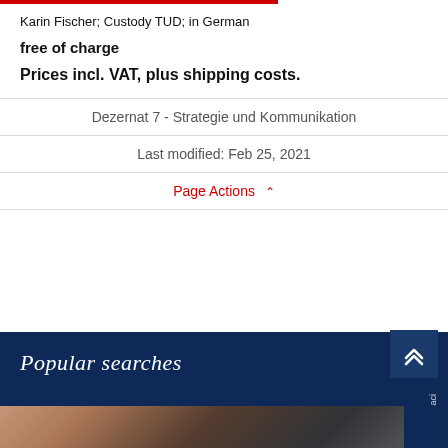Karin Fischer; Custody TUD; in German
free of charge
Prices incl. VAT, plus shipping costs.
Dezernat 7 - Strategie und Kommunikation
Last modified: Feb 25, 2021
Page Actions ∧
Popular searches